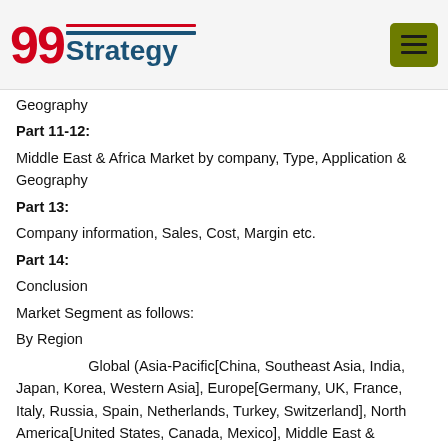99Strategy logo and navigation menu
Geography
Part 11-12:
Middle East & Africa Market by company, Type, Application & Geography
Part 13:
Company information, Sales, Cost, Margin etc.
Part 14:
Conclusion
Market Segment as follows:
By Region
Global (Asia-Pacific[China, Southeast Asia, India, Japan, Korea, Western Asia], Europe[Germany, UK, France, Italy, Russia, Spain, Netherlands, Turkey, Switzerland], North America[United States, Canada, Mexico], Middle East & Africa[GCC, North Africa, South Africa], South America[Brazil, Argentina, Columbia, Chile, Peru])
Key Companies
JAL Group France SAS
Dunlop Boots
COFRA S.r.l.